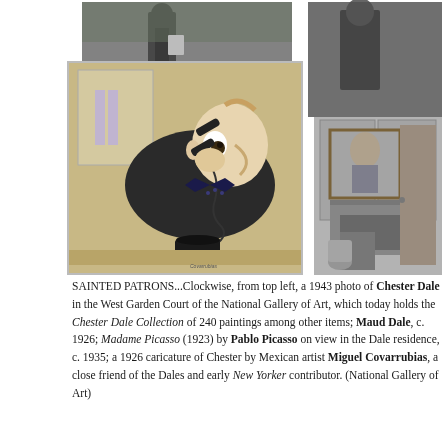[Figure (photo): Four photos arranged in a collage: top-left shows a 1943 photo of Chester Dale in the West Garden Court of the National Gallery of Art; top-right shows Maud Dale c. 1926; bottom-left large image is a 1926 caricature of Chester by Miguel Covarrubias; bottom-right shows Madame Picasso (1923) by Pablo Picasso on view in the Dale residence c. 1935.]
SAINTED PATRONS...Clockwise, from top left, a 1943 photo of Chester Dale in the West Garden Court of the National Gallery of Art, which today holds the Chester Dale Collection of 240 paintings among other items; Maud Dale, c. 1926; Madame Picasso (1923) by Pablo Picasso on view in the Dale residence, c. 1935; a 1926 caricature of Chester by Mexican artist Miguel Covarrubias, a close friend of the Dales and early New Yorker contributor. (National Gallery of Art)